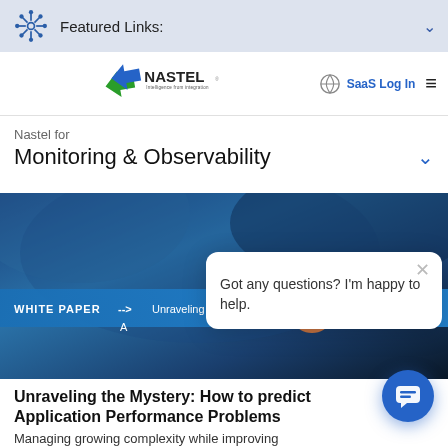Featured Links:
[Figure (logo): Nastel Technologies logo with tagline 'Intelligence from integration']
SaaS Log In
Nastel for
Monitoring & Observability
[Figure (screenshot): Hero banner image with text: WHITE PAPER --> Unraveling the Mystery: How to Predict Application Performance Problems. Blue gradient background.]
Got any questions? I'm happy to help.
Unraveling the Mystery: How to predict Application Performance Problems
Managing growing complexity while improving